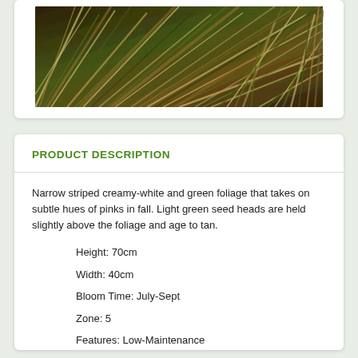[Figure (photo): Close-up photo of narrow striped grass foliage with creamy-white and green blades, showing reddish-brown and tan hues]
PRODUCT DESCRIPTION
Narrow striped creamy-white and green foliage that takes on subtle hues of pinks in fall. Light green seed heads are held slightly above the foliage and age to tan.
Height: 70cm
Width: 40cm
Bloom Time: July-Sept
Zone: 5
Features: Low-Maintenance